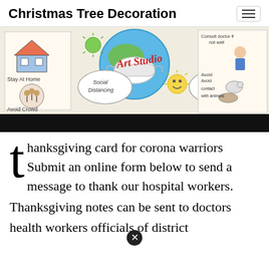Christmas Tree Decoration
[Figure (illustration): A hand-drawn educational poster about COVID-19 precautions showing a globe with a face mask, labeled 'Art Studio' in red cursive. Sections include: Stay At Home (house icon), Avoid Crowd (family illustration), Social Distancing (speech bubble), a smiley virus icon, Self Care (speech bubble), Consult doctor if not well (doctor figure), Avoid contact with animals (animal illustrations). Below the illustration is a black bar.]
thanksgiving card for corona warriors Submit an online form below to send a message to thank our hospital workers. Thanksgiving notes can be sent to doctors health workers officials of district